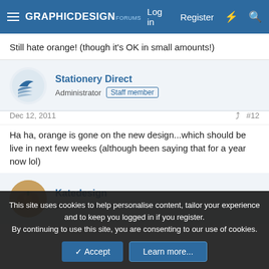Graphic Design Forums — Log in  Register
Still hate orange! (though it's OK in small amounts!)
Stationery Direct — Administrator  Staff member
Dec 12, 2011  #12
Ha ha, orange is gone on the new design...which should be live in next few weeks (although been saying that for a year now lol)
Katedesign — Well-Known Member
This site uses cookies to help personalise content, tailor your experience and to keep you logged in if you register. By continuing to use this site, you are consenting to our use of cookies.